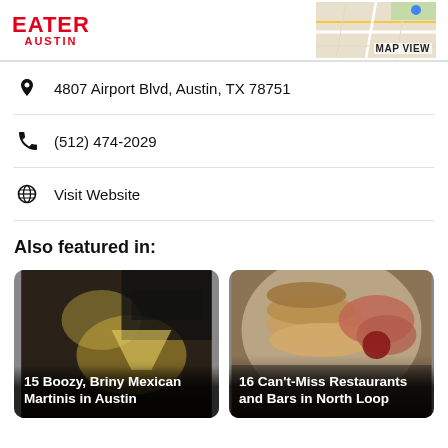EATER AUSTIN
[Figure (map): Small map thumbnail showing street map with MAP VIEW label]
4807 Airport Blvd, Austin, TX 78751
(512) 474-2029
Visit Website
Also featured in:
[Figure (photo): Photo of margarita cocktail being poured with text overlay: 15 Boozy, Briny Mexican Martinis in Austin]
[Figure (photo): Photo of food platter with charcuterie and pastries with text overlay: 16 Can't-Miss Restaurants and Bars in North Loop]